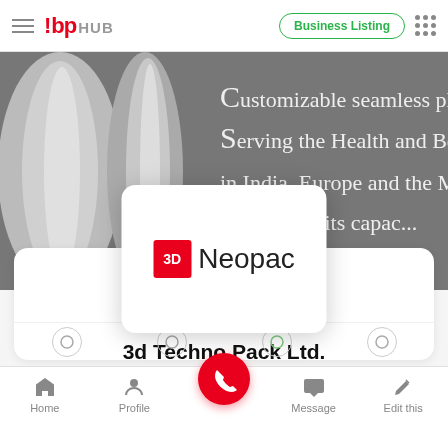!bp HUB — Business Listing
[Figure (screenshot): Hero banner with plastic tube products on gray background with white text: 'Customizable seamless plastic / Serving the Health and Beauty Care / in India, Europe and the Middle / ...00,000 units capacity / ...te printing technology']
[Figure (logo): 3D Neopac logo — red square with '3D' in white text, followed by 'Neopac' in dark gray sans-serif font]
3d Techno Pack Ltd.
Home  Profile  Message  Edit this